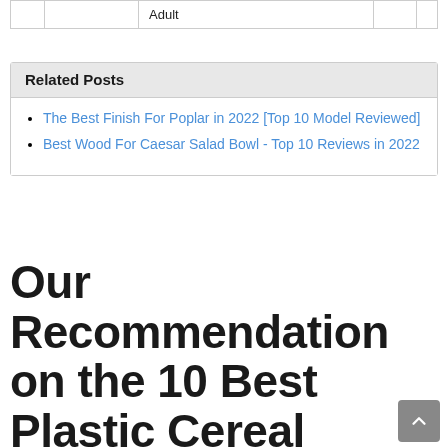|  |  | Adult |  |  |
Related Posts
The Best Finish For Poplar in 2022 [Top 10 Model Reviewed]
Best Wood For Caesar Salad Bowl - Top 10 Reviews in 2022
Our Recommendation on the 10 Best Plastic Cereal Bowls